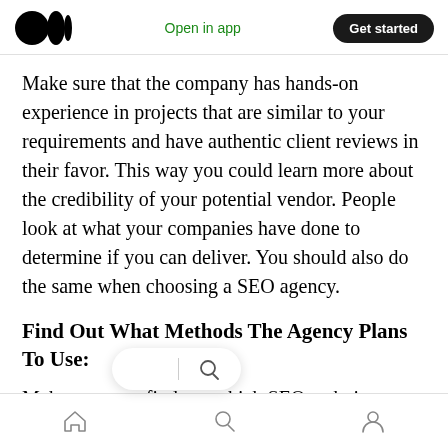Medium logo | Open in app | Get started
Make sure that the company has hands-on experience in projects that are similar to your requirements and have authentic client reviews in their favor. This way you could learn more about the credibility of your potential vendor. People look at what your companies have done to determine if you can deliver. You should also do the same when choosing a SEO agency.
Find Out What Methods The Agency Plans To Use:
Make sure you find out which SEO techniques